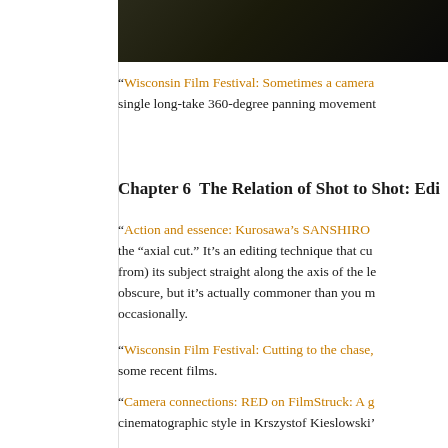[Figure (photo): Dark photo strip at top of page, showing partial image of a person against dark background]
“Wisconsin Film Festival: Sometimes a camera single long-take 360-degree panning movement
Chapter 6  The Relation of Shot to Shot: Edi
“Action and essence: Kurosawa’s SANSHIRO the “axial cut.” It’s an editing technique that cu from) its subject straight along the axis of the le obscure, but it’s actually commoner than you m occasionally.
“Wisconsin Film Festival: Cutting to the chase, some recent films.
“Camera connections: RED on FilmStruck: A g cinematographic style in Krszystof Kieslowski’